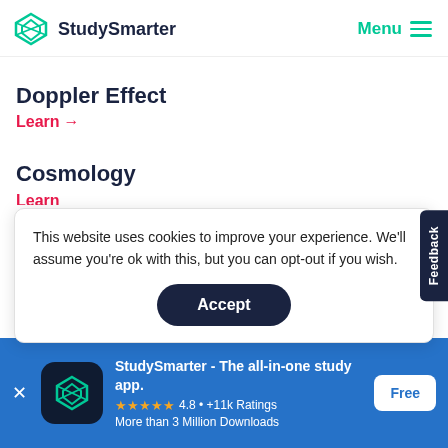[Figure (logo): StudySmarter logo with teal geometric diamond icon and 'StudySmarter' text, plus Menu button with hamburger icon]
Doppler Effect
Learn →
Cosmology
This website uses cookies to improve your experience. We'll assume you're ok with this, but you can opt-out if you wish.
Accept
Feedback
Radio Telescopes
[Figure (logo): StudySmarter app icon - teal geometric diamond on dark background]
StudySmarter - The all-in-one study app.
★★★★★ 4.8 • +11k Ratings
More than 3 Million Downloads
Free